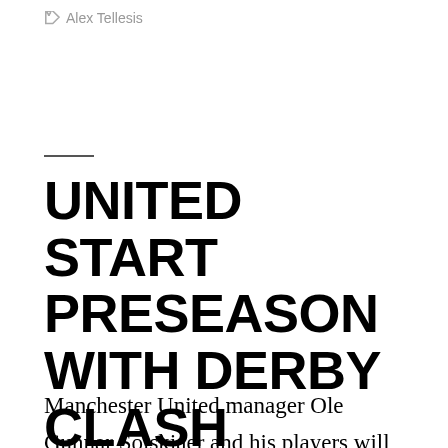Alex Tellesis
UNITED START PRESEASON WITH DERBY CLASH
Manchester United manager Ole Gunnar Solskjaer and his players will start their